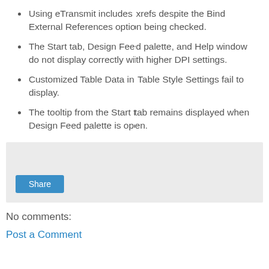Using eTransmit includes xrefs despite the Bind External References option being checked.
The Start tab, Design Feed palette, and Help window do not display correctly with higher DPI settings.
Customized Table Data in Table Style Settings fail to display.
The tooltip from the Start tab remains displayed when Design Feed palette is open.
Share
No comments:
Post a Comment